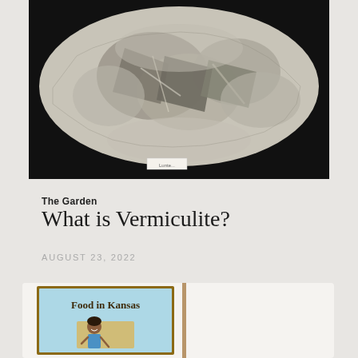[Figure (photo): Black and white photograph of a vermiculite mineral specimen on a dark background, with a small label at the bottom]
The Garden
What is Vermiculite?
AUGUST 23, 2022
[Figure (illustration): Book cover illustration with light blue background showing 'Food in Kansas' title and a cartoon child character holding something, with a tan/yellow Kansas state shape outline]